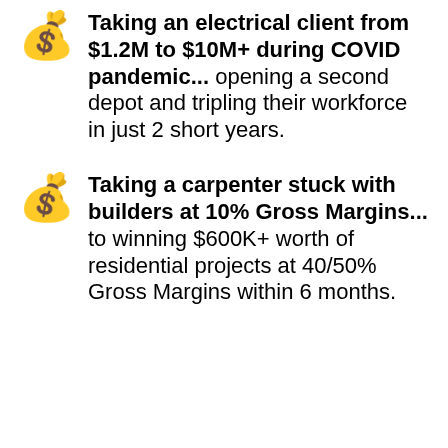Taking an electrical client from $1.2M to $10M+ during COVID pandemic... opening a second depot and tripling their workforce in just 2 short years.
Taking a carpenter stuck with builders at 10% Gross Margins... to winning $600K+ worth of residential projects at 40/50% Gross Margins within 6 months.